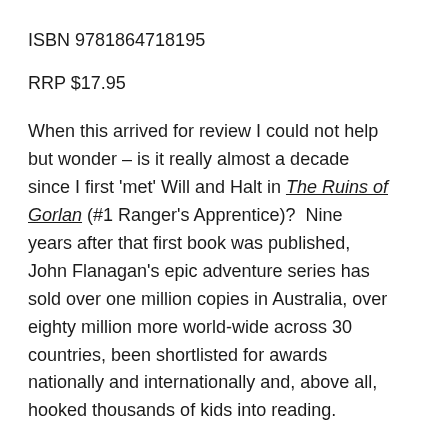ISBN 9781864718195
RRP $17.95
When this arrived for review I could not help but wonder – is it really almost a decade since I first ‘met’ Will and Halt in The Ruins of Gorlan (#1 Ranger’s Apprentice)?  Nine years after that first book was published, John Flanagan’s epic adventure series has sold over one million copies in Australia, over eighty million more world-wide across 30 countries, been shortlisted for awards nationally and internationally and, above all, hooked thousands of kids into reading.
With each subsequent instalment the legion of fans has grown and each new publication hailed with exuberant excitement and, certainly in my own libraries –